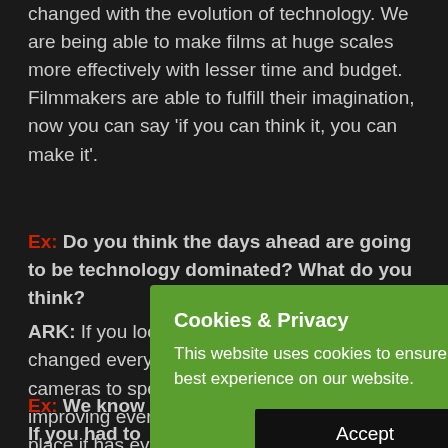changed with the evolution of technology. We are being able to make films at huge scales more effectively with lesser time and budget. Filmmakers are able to fulfill their imagination, now you can say 'if you can think it, you can make it'.
Ex: Do you think the days ahead are going to be technology dominated? What do you think?
ARK: If you look from outside technology has changed everything in the cameras to spec improving every place it has ever before.
[Figure (screenshot): A green cookie consent popup overlay with title 'Cookies & Privacy', body text 'This website uses cookies to ensure you get the best experience on our website.' and a dark Accept button.]
Ex: We know of your undying love for cars. If you had to